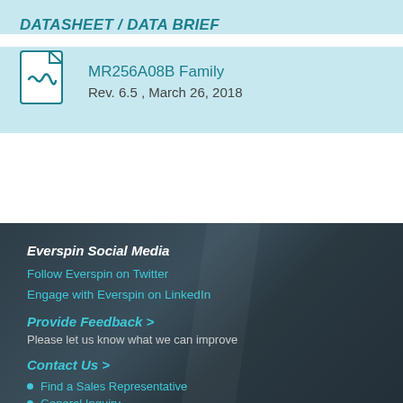DATASHEET / DATA BRIEF
MR256A08B Family
Rev. 6.5 , March 26, 2018
Everspin Social Media
Follow Everspin on Twitter
Engage with Everspin on LinkedIn
Provide Feedback >
Please let us know what we can improve
Contact Us >
Find a Sales Representative
General Inquiry